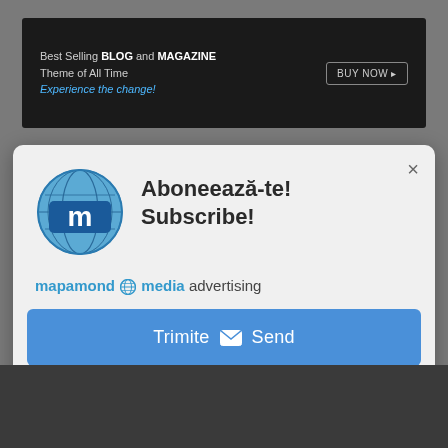[Figure (screenshot): Top dark banner with text: Best Selling BLOG and MAGAZINE Theme of All Time. Experience the change! and a BUY NOW button on the right.]
Abonează-te! Subscribe!
[Figure (logo): Mapamond Media logo: blue globe with white 'm' letter]
mapamond media advertising
Trimite Send
Nu utilizați HubSpot încă?